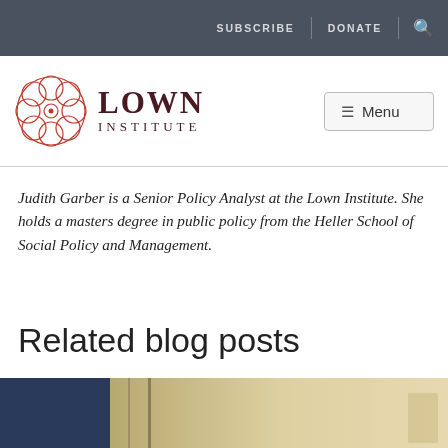SUBSCRIBE | DONATE | 🔍
[Figure (logo): Lown Institute logo with circular red geometric flower design and text LOWN INSTITUTE]
Judith Garber is a Senior Policy Analyst at the Lown Institute. She holds a masters degree in public policy from the Heller School of Social Policy and Management.
Related blog posts
[Figure (photo): Photo of a hospital room scene with IV stand and medical equipment, blue and sepia tones]